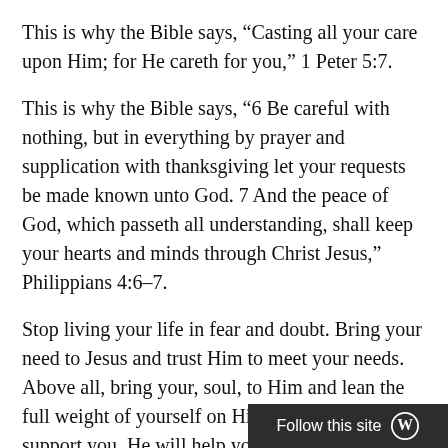This is why the Bible says, “Casting all your care upon Him; for He careth for you,” 1 Peter 5:7.
This is why the Bible says, “6 Be careful with nothing, but in everything by prayer and supplication with thanksgiving let your requests be made known unto God. 7 And the peace of God, which passeth all understanding, shall keep your hearts and minds through Christ Jesus,” Philippians 4:6–7.
Stop living your life in fear and doubt. Bring your need to Jesus and trust Him to meet your needs. Above all, bring your, soul, to Him and lean the full weight of yourself on Him, and He will support you. He will help you. He will give you peace. He will extend His grace to you. He wil...
Follow this site